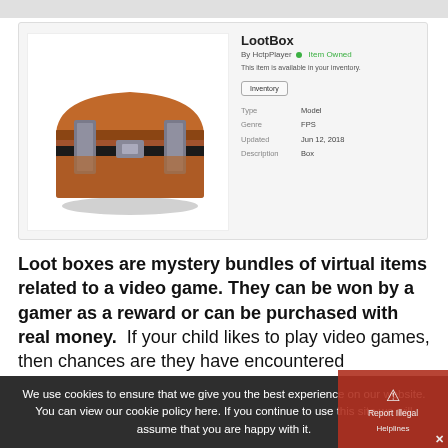[Figure (screenshot): Screenshot of a Roblox LootBox item page showing a 3D wooden chest with metal clasps, labeled LootBox, by HctpPlayer, Item Owned, available in inventory. Metadata: Type: Model, Genre: FPS, Updated: Jun 12, 2018, Description: Box.]
Loot boxes are mystery bundles of virtual items related to a video game. They can be won by a gamer as a reward or can be purchased with real money.  If your child likes to play video games, then chances are they have encountered...
We use cookies to ensure that we give you the best experience on our website. You can view our cookie policy here. If you continue to use this site we will assume that you are happy with it.